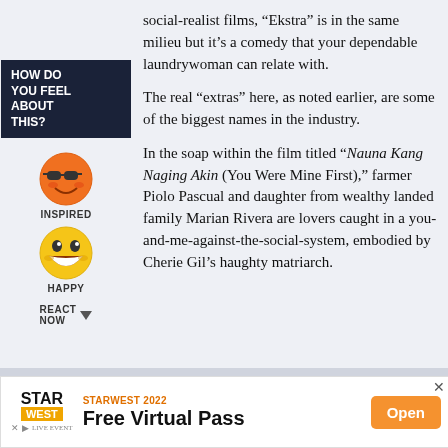social-realist films, “Ekstra” is in the same milieu but it’s a comedy that your dependable laundrywoman can relate with.
[Figure (infographic): Sidebar with 'HOW DO YOU FEEL ABOUT THIS?' label in dark navy box, an inspired emoji (orange smiley face with sunglasses), a happy emoji (yellow grinning face), and 'REACT NOW' text with dropdown arrow]
The real “extras” here, as noted earlier, are some of the biggest names in the industry.
In the soap within the film titled “Nauna Kang Naging Akin (You Were Mine First),” farmer Piolo Pascual and daughter from wealthy landed family Marian Rivera are lovers caught in a you-and-me-against-the-social-system, embodied by Cherie Gil’s haughty matriarch.
[Figure (infographic): Advertisement banner for STARWEST 2022 Free Virtual Pass with Open button]